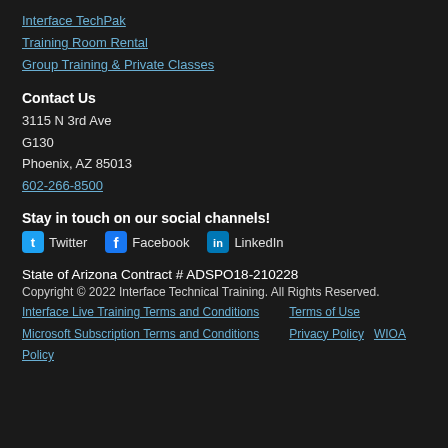Interface TechPak
Training Room Rental
Group Training & Private Classes
Contact Us
3115 N 3rd Ave
G130
Phoenix, AZ 85013
602-266-8500
Stay in touch on our social channels!
Twitter  Facebook  LinkedIn
State of Arizona Contract # ADSPO18-210228
Copyright © 2022 Interface Technical Training. All Rights Reserved.
Interface Live Training Terms and Conditions   Terms of Use
Microsoft Subscription Terms and Conditions   Privacy Policy   WIOA Policy